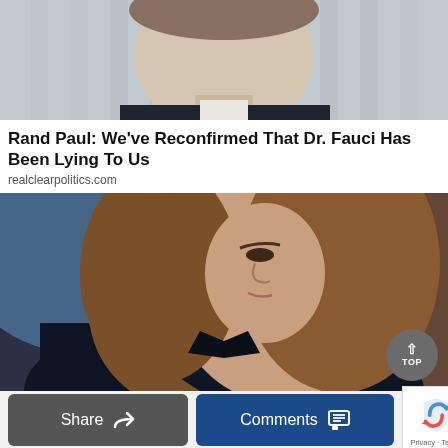[Figure (photo): Photo of a man in a dark suit, upper body and face, against a light background with architectural columns]
Rand Paul: We've Reconfirmed That Dr. Fauci Has Been Lying To Us
realclearpolitics.com
[Figure (photo): Photo of a woman with long brown wavy hair, wearing a dark navy top, speaking, with a blurred colorful studio background]
Share
Comments